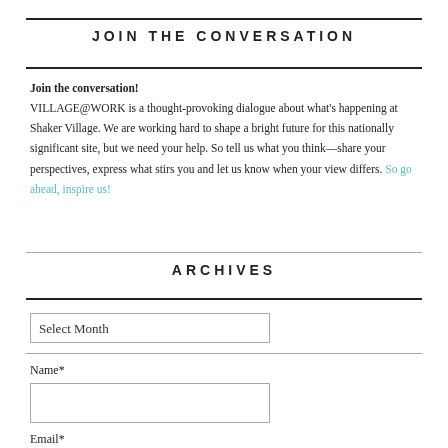JOIN THE CONVERSATION
Join the conversation! VILLAGE@WORK is a thought-provoking dialogue about what's happening at Shaker Village. We are working hard to shape a bright future for this nationally significant site, but we need your help. So tell us what you think—share your perspectives, express what stirs you and let us know when your view differs. So go ahead, inspire us!
ARCHIVES
Select Month
Name*
Email*